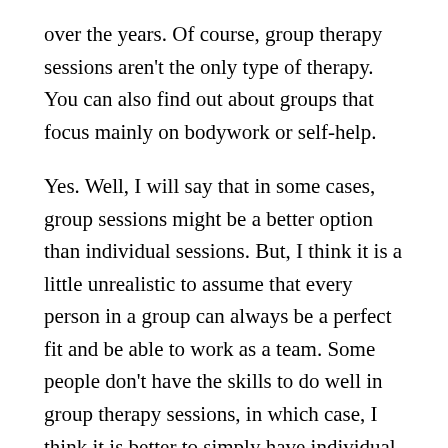over the years. Of course, group therapy sessions aren't the only type of therapy. You can also find out about groups that focus mainly on bodywork or self-help.
Yes. Well, I will say that in some cases, group sessions might be a better option than individual sessions. But, I think it is a little unrealistic to assume that every person in a group can always be a perfect fit and be able to work as a team. Some people don't have the skills to do well in group therapy sessions, in which case, I think it is better to simply have individual sessions.
I know. I…